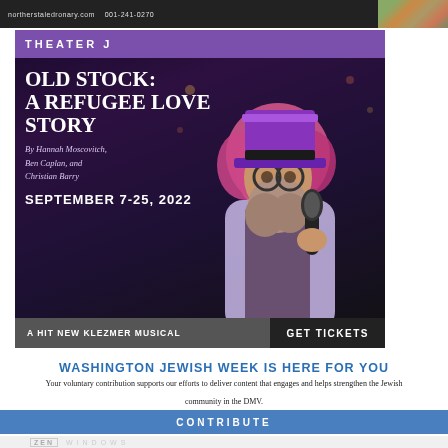[Figure (photo): Top banner with dark background, website URL and phone number text in white, small round colorful image on right side]
[Figure (illustration): Theater J advertisement for 'Old Stock: A Refugee Love Story' - dark purple/black background with performer in purple top hat, pink curly hair, long beard, holding microphone. Text shows title, authors (Hannah Moscovitch, Ben Caplan, and Christian Barry), dates September 7-25 2022, 'A Hit New Klezmer Musical' and 'GET TICKETS' button.]
WASHINGTON JEWISH WEEK IS HERE FOR YOU
Your voluntary contribution supports our efforts to deliver content that engages and helps strengthen the Jewish community in the DMV.
CONTRIBUTE
[Figure (logo): Zen Windows logo - light gray background with ZEN in box and WINDOWS text]